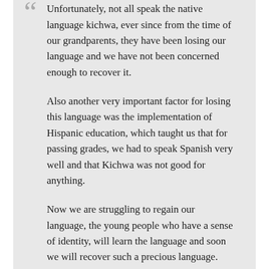Unfortunately, not all speak the native language kichwa, ever since from the time of our grandparents, they have been losing our language and we have not been concerned enough to recover it.

Also another very important factor for losing this language was the implementation of Hispanic education, which taught us that for passing grades, we had to speak Spanish very well and that Kichwa was not good for anything.

Now we are struggling to regain our language, the young people who have a sense of identity, will learn the language and soon we will recover such a precious language.